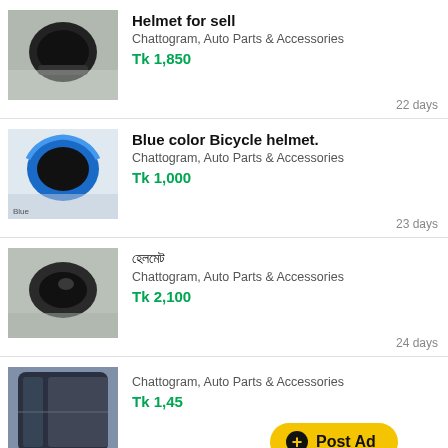[Figure (photo): Black motorcycle helmet photo]
Helmet for sell
Chattogram, Auto Parts & Accessories
Tk 1,850
22 days
[Figure (photo): Blue bicycle helmet photo]
Blue color Bicycle helmet.
Chattogram, Auto Parts & Accessories
Tk 1,000
23 days
[Figure (photo): Black half-face helmet photo]
হেলমেট
Chattogram, Auto Parts & Accessories
Tk 2,100
24 days
[Figure (photo): Dark helmet side view photo]
Chattogram, Auto Parts & Accessories
Tk 1,45
28 days